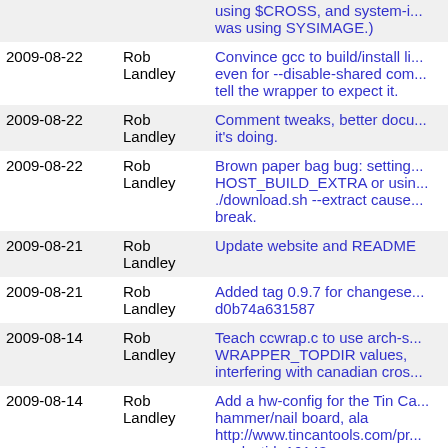| Date | Author | Description |
| --- | --- | --- |
|  |  | using $CROSS, and system-i... was using SYSIMAGE.) |
| 2009-08-22 | Rob Landley | Convince gcc to build/install li... even for --disable-shared com... tell the wrapper to expect it. |
| 2009-08-22 | Rob Landley | Comment tweaks, better docu... it's doing. |
| 2009-08-22 | Rob Landley | Brown paper bag bug: setting... HOST_BUILD_EXTRA or usin... ./download.sh --extract cause... break. |
| 2009-08-21 | Rob Landley | Update website and README |
| 2009-08-21 | Rob Landley | Added tag 0.9.7 for changese... d0b74a631587 |
| 2009-08-14 | Rob Landley | Teach ccwrap.c to use arch-s... WRAPPER_TOPDIR values,... interfering with canadian cros... |
| 2009-08-14 | Rob Landley | Add a hw-config for the Tin Ca... hammer/nail board, ala http://www.tincantools.com/pr... productid=16143 |
| 2009-08-14 | Rob Landley | Make sparc build a static vers... this involves rubbing the distc... ./configure's nose in somethin... a gratuitous build break.) The... to a shell prompt! Which then... |